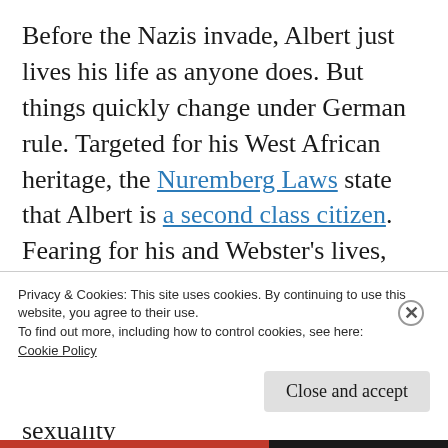Before the Nazis invade, Albert just lives his life as anyone does. But things quickly change under German rule. Targeted for his West African heritage, the Nuremberg Laws state that Albert is a second class citizen. Fearing for his and Webster's lives, Albert asks Webster to smuggle him out of France. He knows that while his partner may be able to fly under the radar for a short time, Webster's sexuality
Privacy & Cookies: This site uses cookies. By continuing to use this website, you agree to their use. To find out more, including how to control cookies, see here: Cookie Policy
Close and accept